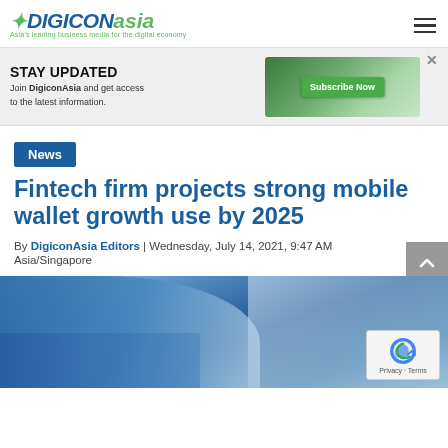DigiconAsia — Asia's leading business media for the digital economy
[Figure (screenshot): DigiconAsia advertisement banner: STAY UPDATED — Join DigiconAsia and get access to the latest information. Subscribe Now button on green background.]
News
Fintech firm projects strong mobile wallet growth use by 2025
By DigiconAsia Editors | Wednesday, July 14, 2021, 9:47 AM
Asia/Singapore
[Figure (photo): Blurred photo of a person in blue clothing holding a smartphone, with bokeh background.]